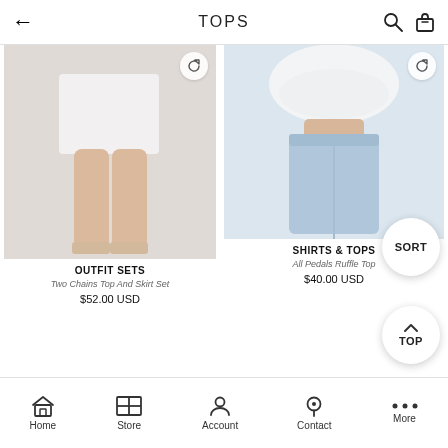TOPS
[Figure (photo): Fashion model wearing a white two-piece outfit set with mini skirt, showing legs and heels]
OUTFIT SETS
Two Chains Top And Skirt Set
$52.00 USD
[Figure (photo): Fashion model wearing a white ruffle crop top and light blue jeans]
SHIRTS & TOPS
All Pedals Ruffle Top
$40.00 USD
Home  Store  Account  Contact  More